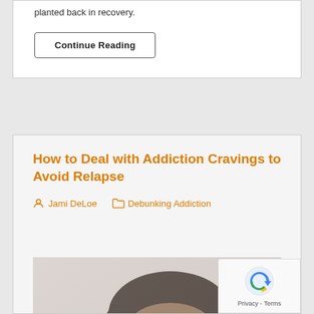planted back in recovery.
Continue Reading
How to Deal with Addiction Cravings to Avoid Relapse
Jami DeLoe   Debunking Addiction
[Figure (photo): Close-up photo of a worried young woman biting her fingers, light grey background]